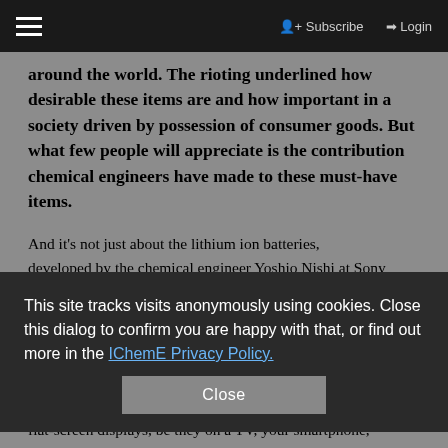☰  Subscribe  Login
around the world. The rioting underlined how desirable these items are and how important in a society driven by possession of consumer goods. But what few people will appreciate is the contribution chemical engineers have made to these must-have items.
And it's not just about the lithium ion batteries, developed by the chemical engineer Yoshio Nishi at Sony ... Nishi was ... a background in ... Tomio Wada. His achievements... Wada developed the world's first liquid crystal pocket calculator. The lowly EL-805 pocket calculator, launched by Sharp in May 1973, is the direct ancestor of today's flat-screen displays, be they on a TV, your smartphone,
This site tracks visits anonymously using cookies. Close this dialog to confirm you are happy with that, or find out more in the IChemE Privacy Policy.
Close